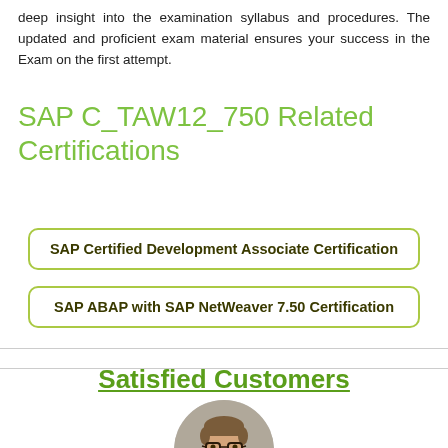deep insight into the examination syllabus and procedures. The updated and proficient exam material ensures your success in the Exam on the first attempt.
SAP C_TAW12_750 Related Certifications
SAP Certified Development Associate Certification
SAP ABAP with SAP NetWeaver 7.50 Certification
Satisfied Customers
[Figure (photo): Circular headshot photo of a smiling young man with glasses wearing a dark suit]